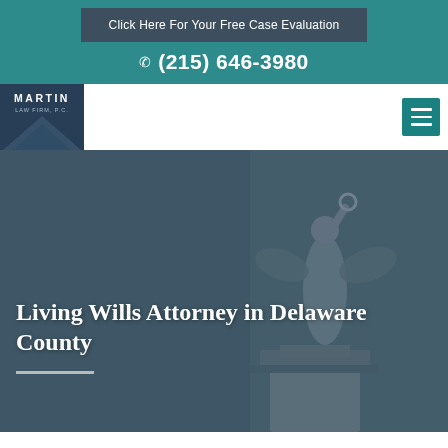Click Here For Your Free Case Evaluation
(215) 646-3980
[Figure (logo): Martin Law Firm, P.C. logo with dark blue background and diamond/shield graphic]
[Figure (other): Hamburger menu icon (three horizontal lines) on teal background]
[Figure (photo): Hero image of a winged justice/victory statue (Lady Justice or Nike figure) on a pedestal, with dark teal/slate blue overlay]
Living Wills Attorney in Delaware County